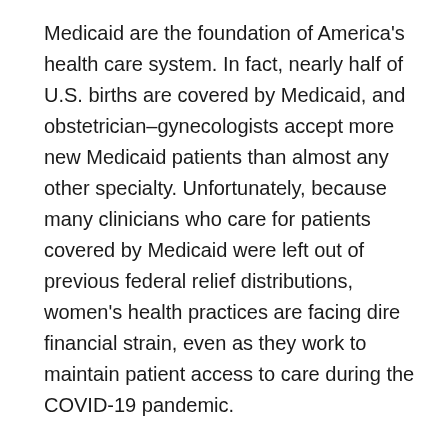Medicaid are the foundation of America's health care system. In fact, nearly half of U.S. births are covered by Medicaid, and obstetrician–gynecologists accept more new Medicaid patients than almost any other specialty. Unfortunately, because many clinicians who care for patients covered by Medicaid were left out of previous federal relief distributions, women's health practices are facing dire financial strain, even as they work to maintain patient access to care during the COVID-19 pandemic.
“ACOG is pleased that the Department of Health and Human Services (HHS) is taking steps to ensure that clinicians who care for Medicaid patients are able to receive direct financial relief so that the foundation of women’s health care remains strong during the ongoing crisis.